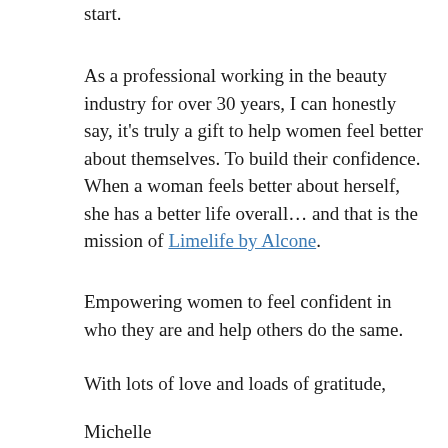start.
As a professional working in the beauty industry for over 30 years, I can honestly say, it's truly a gift to help women feel better about themselves. To build their confidence. When a woman feels better about herself, she has a better life overall… and that is the mission of Limelife by Alcone.
Empowering women to feel confident in who they are and help others do the same.
With lots of love and loads of gratitude,
Michelle